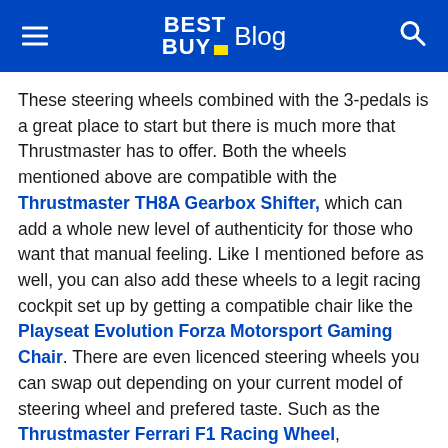BEST BUY Blog
These steering wheels combined with the 3-pedals is a great place to start but there is much more that Thrustmaster has to offer. Both the wheels mentioned above are compatible with the Thrustmaster TH8A Gearbox Shifter, which can add a whole new level of authenticity for those who want that manual feeling. Like I mentioned before as well, you can also add these wheels to a legit racing cockpit set up by getting a compatible chair like the Playseat Evolution Forza Motorsport Gaming Chair. There are even licenced steering wheels you can swap out depending on your current model of steering wheel and prefered taste. Such as the Thrustmaster Ferrari F1 Racing Wheel, Thrustmaster 599XX EVO 30 Racing Wheel Add-On Alcantara Edition and the Thrustmaster Leather 28 GT Racing Wheel, if you